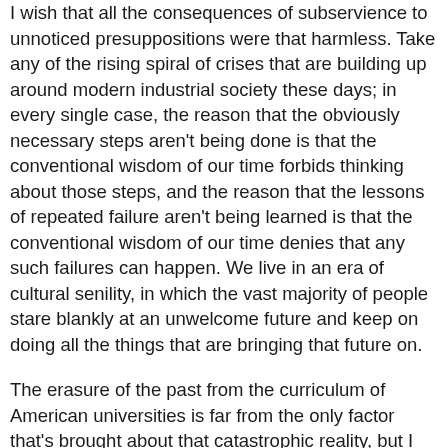I wish that all the consequences of subservience to unnoticed presuppositions were that harmless. Take any of the rising spiral of crises that are building up around modern industrial society these days; in every single case, the reason that the obviously necessary steps aren't being done is that the conventional wisdom of our time forbids thinking about those steps, and the reason that the lessons of repeated failure aren't being learned is that the conventional wisdom of our time denies that any such failures can happen. We live in an era of cultural senility, in which the vast majority of people stare blankly at an unwelcome future and keep on doing all the things that are bringing that future on.
The erasure of the past from the curriculum of American universities is far from the only factor that's brought about that catastrophic reality, but I suspect its role in that process has been significant. The era of cultural senility came in when the generation of the Sixties, the generation that insisted on excising the past from its university education, hit its thirties and rose into positions of influence, and it's gotten steadily